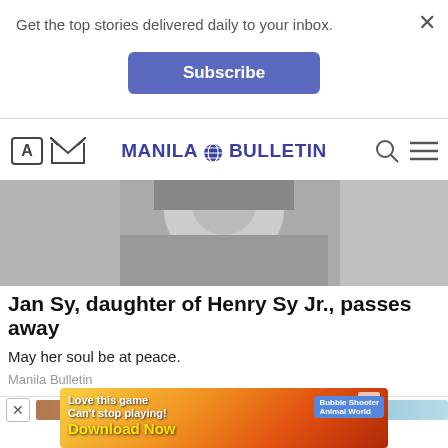Get the top stories delivered daily to your inbox.
Subscribe
[Figure (screenshot): Manila Bulletin website navigation bar with logo, search icon, and menu icon]
[Figure (photo): Grayscale photo of a person, partially visible, used as article header image]
Jan Sy, daughter of Henry Sy Jr., passes away
May her soul be at peace.
Manila Bulletin
[Figure (screenshot): Partial view of another article image, brownish tones]
[Figure (screenshot): Advertisement banner: Love this game Can't stop playing! Download Now - Bubble Shooter Animal World]